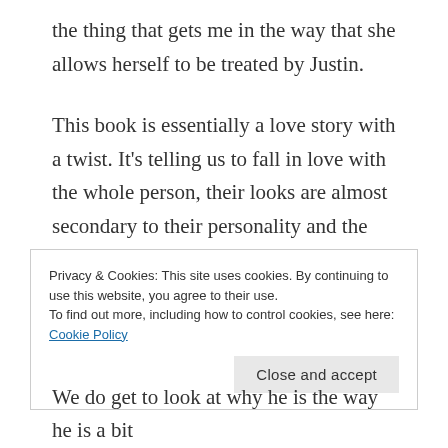the thing that gets me in the way that she allows herself to be treated by Justin.
This book is essentially a love story with a twist. It's telling us to fall in love with the whole person, their looks are almost secondary to their personality and the way they make us feel. That is the message that the author wants us to take away here. That's why 'A' is a boy and a girl and a jock and a geek and a
Privacy & Cookies: This site uses cookies. By continuing to use this website, you agree to their use.
To find out more, including how to control cookies, see here: Cookie Policy
We do get to look at why he is the way he is a bit